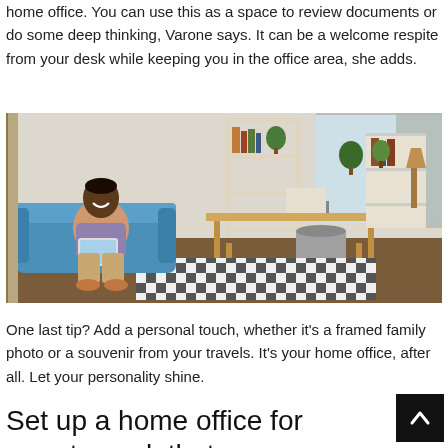home office. You can use this as a space to review documents or do some deep thinking, Varone says. It can be a welcome respite from your desk while keeping you in the office area, she adds.
[Figure (photo): A man sitting on a blue sofa in a bright home office, smiling and using a tablet. Behind him is a large shelving unit with plants and decor. In the center of the room is a wooden desk with a chair and monitor. The floor has a black-and-white geometric rug.]
One last tip? Add a personal touch, whether it’s a framed family photo or a souvenir from your travels. It’s your home office, after all. Let your personality shine.
Set up a home office for remote work that